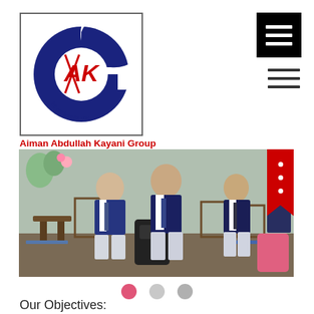[Figure (logo): Aiman Abdullah Kayani Group logo: circular dark blue G shape with stylized AK initials in red, text 'We are here for you' along the bottom curve, enclosed in a square border]
Aiman Abdullah Kayani Group
[Figure (photo): School students in uniform (dark navy sweater vest over white shirt with tie) standing in a classroom with wooden chairs and desks. Multiple students visible, one prominently in center foreground.]
Our Objectives: